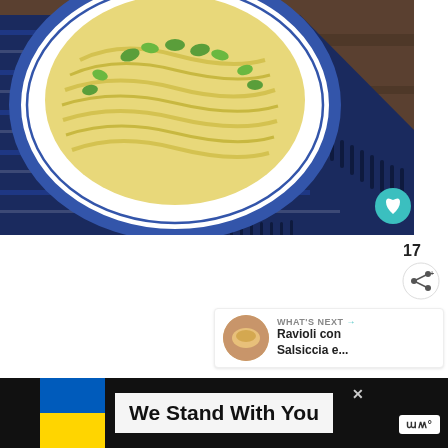[Figure (photo): Overhead view of pasta dish in a white and blue decorative plate, garnished with fresh herbs, on a navy blue fringed woven placemat over a dark wood surface. A teal circular heart/favorite button is visible at bottom right of the image.]
17
[Figure (illustration): Share icon button (circle with share symbol) below the like count of 17]
[Figure (infographic): WHAT'S NEXT → thumbnail card showing a circular food photo with text 'Ravioli con Salsiccia e...']
[Figure (infographic): Bottom promotional bar with Ukrainian flag colors (blue and yellow), text 'We Stand With You', a close X button, and a Merriam-Webster logo on the right]